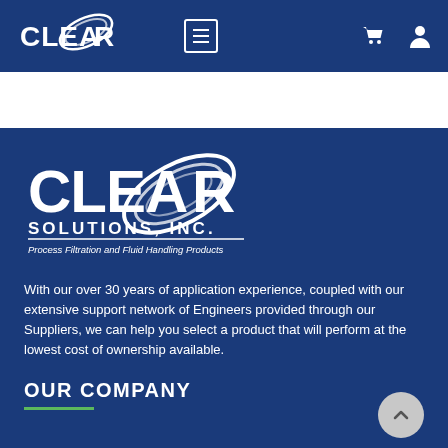CLEAR SOLUTIONS, INC. — Navigation bar with menu, cart, and user icons
[Figure (logo): Clear Solutions Inc. large white logo on dark blue background with swoosh graphic, text: CLEAR SOLUTIONS, INC. Process Filtration and Fluid Handling Products]
With our over 30 years of application experience, coupled with our extensive support network of Engineers provided through our Suppliers, we can help you select a product that will perform at the lowest cost of ownership available.
OUR COMPANY